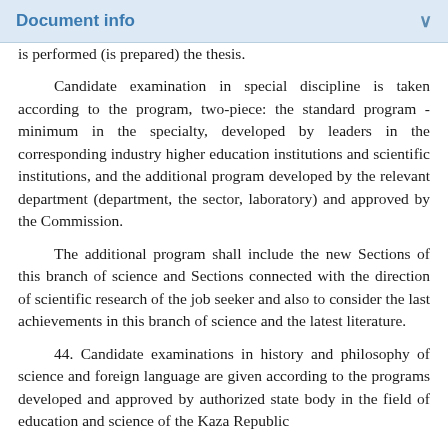Document info
is performed (is prepared) the thesis.
Candidate examination in special discipline is taken according to the program, two-piece: the standard program - minimum in the specialty, developed by leaders in the corresponding industry higher education institutions and scientific institutions, and the additional program developed by the relevant department (department, the sector, laboratory) and approved by the Commission.
The additional program shall include the new Sections of this branch of science and Sections connected with the direction of scientific research of the job seeker and also to consider the last achievements in this branch of science and the latest literature.
44. Candidate examinations in history and philosophy of science and foreign language are given according to the programs developed and approved by authorized state body in the field of education and science of the Kaza Republic...